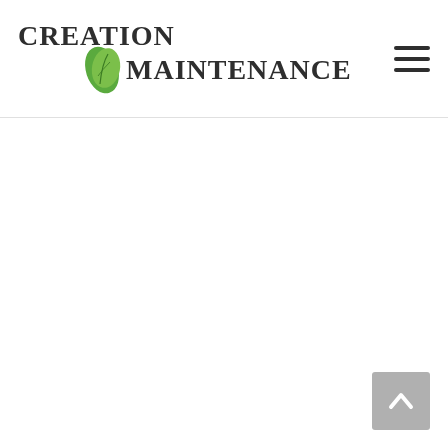CREATION MAINTENANCE (with leaf logo and hamburger menu icon)
[Figure (other): Back to top arrow button in lower right corner, gray background with upward arrow icon]